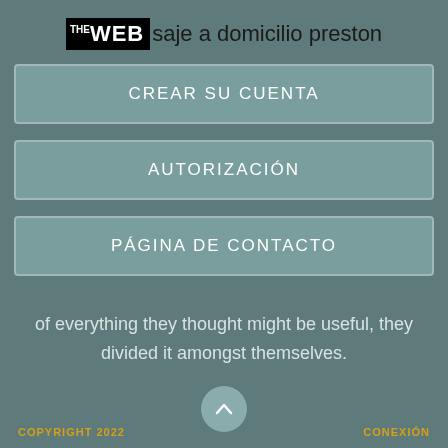THE WEB saje a domicilio preston
CREAR SU CUENTA
AUTORIZACIÓN
PÁGINA DE CONTACTO
of everything they thought might be useful, they divided it amongst themselves.
COPYRIGHT 2022   CONEXIÓN